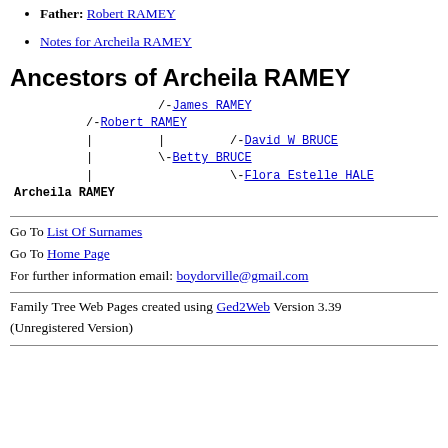Father: Robert RAMEY
Notes for Archeila RAMEY
Ancestors of Archeila RAMEY
[Figure (other): Ancestor tree diagram showing: /-James RAMEY, /-Robert RAMEY, | | /-David W BRUCE, | \-Betty BRUCE, | \-Flora Estelle HALE, Archeila RAMEY]
Go To List Of Surnames
Go To Home Page
For further information email: boydorville@gmail.com
Family Tree Web Pages created using Ged2Web Version 3.39 (Unregistered Version)